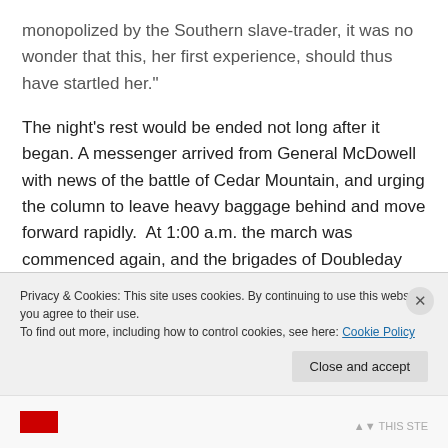monopolized by the Southern slave-trader, it was no wonder that this, her first experience, should thus have startled her."
The night's rest would be ended not long after it began. A messenger arrived from General McDowell with news of the battle of Cedar Mountain, and urging the column to leave heavy baggage behind and move forward rapidly. At 1:00 a.m. the march was commenced again, and the brigades of Doubleday and Patrick soon reunited with those of Hatch and Gibbon (who had crossed the
Privacy & Cookies: This site uses cookies. By continuing to use this website, you agree to their use.
To find out more, including how to control cookies, see here: Cookie Policy
Close and accept